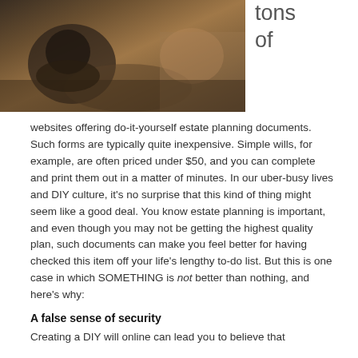[Figure (photo): A person crouching on rocky terrain outdoors, viewed from above and behind.]
tons of
websites offering do-it-yourself estate planning documents. Such forms are typically quite inexpensive. Simple wills, for example, are often priced under $50, and you can complete and print them out in a matter of minutes. In our uber-busy lives and DIY culture, it’s no surprise that this kind of thing might seem like a good deal. You know estate planning is important, and even though you may not be getting the highest quality plan, such documents can make you feel better for having checked this item off your life’s lengthy to-do list. But this is one case in which SOMETHING is not better than nothing, and here’s why:
A false sense of security
Creating a DIY will online can lead you to believe that